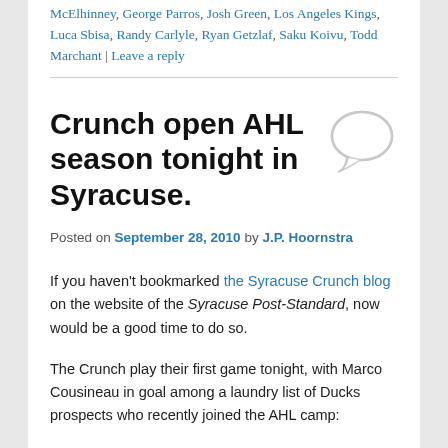McElhinney, George Parros, Josh Green, Los Angeles Kings, Luca Sbisa, Randy Carlyle, Ryan Getzlaf, Saku Koivu, Todd Marchant | Leave a reply
Crunch open AHL season tonight in Syracuse.
Posted on September 28, 2010 by J.P. Hoornstra
If you haven't bookmarked the Syracuse Crunch blog on the website of the Syracuse Post-Standard, now would be a good time to do so.
The Crunch play their first game tonight, with Marco Cousineau in goal among a laundry list of Ducks prospects who recently joined the AHL camp:
J.P. Levasseur will back up and also get minutes.
The post also mentions former Ace DiPietro, Mark Mitera, M...